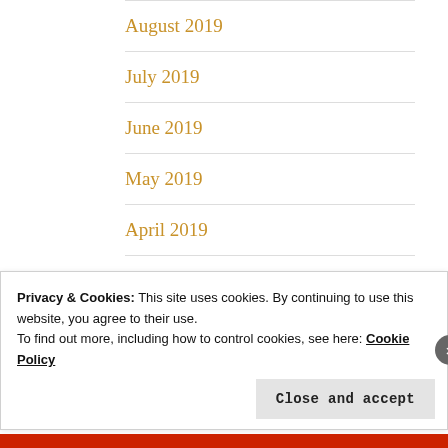August 2019
July 2019
June 2019
May 2019
April 2019
March 2019
February 2019
Privacy & Cookies: This site uses cookies. By continuing to use this website, you agree to their use.
To find out more, including how to control cookies, see here: Cookie Policy
Close and accept